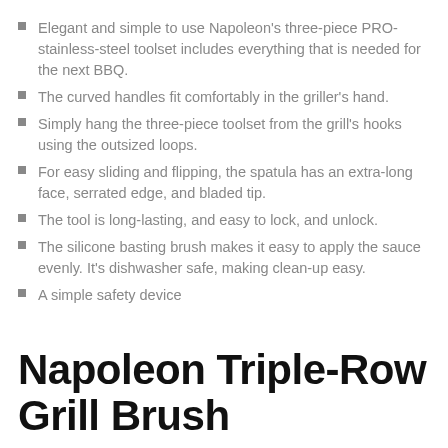Elegant and simple to use Napoleon's three-piece PRO-stainless-steel toolset includes everything that is needed for the next BBQ.
The curved handles fit comfortably in the griller's hand.
Simply hang the three-piece toolset from the grill's hooks using the outsized loops.
For easy sliding and flipping, the spatula has an extra-long face, serrated edge, and bladed tip.
The tool is long-lasting, and easy to lock, and unlock.
The silicone basting brush makes it easy to apply the sauce evenly. It's dishwasher safe, making clean-up easy.
A simple safety device
Napoleon Triple-Row Grill Brush